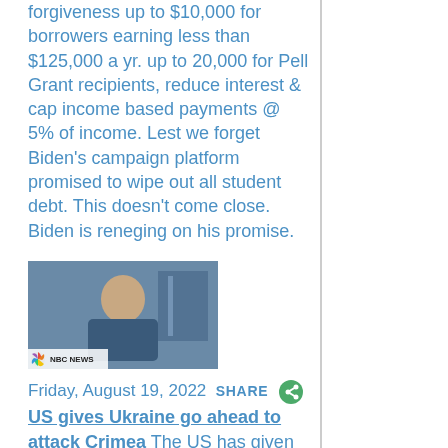forgiveness up to $10,000 for borrowers earning less than $125,000 a yr. up to 20,000 for Pell Grant recipients, reduce interest & cap income based payments @ 5% of income. Lest we forget Biden's campaign platform promised to wipe out all student debt. This doesn't come close. Biden is reneging on his promise.
[Figure (screenshot): NBC News thumbnail showing a person, likely a news broadcast screenshot]
Friday, August 19, 2022  SHARE  US gives Ukraine go ahead to attack Crimea The US has given Ukraine the go ahead to attack Crimea & the Kerch Bridge that connects the peninsula w/ the Russian mainland. Ukraine & the US reject Crimea becoming part of Russia making it fair game to be attacked. Up to now the Russian military in Ukraine has not targeted Pros. Zelensky or his entourage. If he